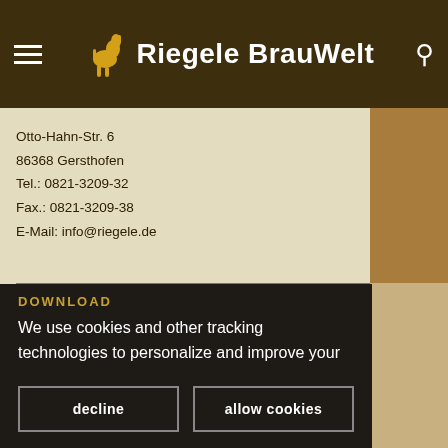Riegele BrauWelt
Otto-Hahn-Str. 6
86368 Gersthofen
Tel.: 0821-3209-32
Fax.: 0821-3209-38
E-Mail: info@riegele.de
DOWNLOAD
We use cookies and other tracking technologies to personalize and improve your experience. By continuing to use our website you consent to this. More info
decline
allow cookies